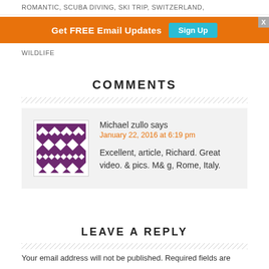ROMANTIC, SCUBA DIVING, SKI TRIP, SWITZERLAND,
[Figure (screenshot): Orange banner with 'Get FREE Email Updates' text and 'Sign Up' teal button, with X close button]
WILDLIFE
COMMENTS
Michael zullo says
January 22, 2016 at 6:19 pm
Excellent, article, Richard. Great video. & pics. M& g, Rome, Italy.
LEAVE A REPLY
Your email address will not be published. Required fields are